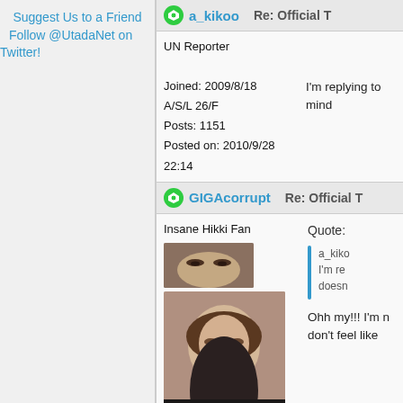Suggest Us to a Friend
Follow @UtadaNet on Twitter!
a_kikoo
Re: Official T
UN Reporter
I'm replying to mind
Joined: 2009/8/18
A/S/L 26/F
Posts: 1151
Posted on: 2010/9/28 22:14
GIGAcorrupt
Re: Official T
Insane Hikki Fan
[Figure (photo): Small cropped avatar photo showing eyes of a person]
[Figure (photo): Large avatar photo of a young Asian woman with short brown hair, smiling]
Quote:
a_kiko
I'm re
doesn
Ohh my!!! I'm n don't feel like
Joined: 2008/3/1